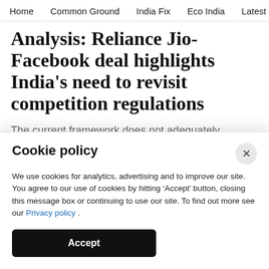Home  Common Ground  India Fix  Eco India  Latest  Th
Analysis: Reliance Jio-Facebook deal highlights India's need to revisit competition regulations
The current framework does not adequately address digital business models.
Amber Sinha & Arindrajit Basu
Cookie policy
We use cookies for analytics, advertising and to improve our site. You agree to our use of cookies by hitting 'Accept' button, closing this message box or continuing to use our site. To find out more see our Privacy policy .
Accept